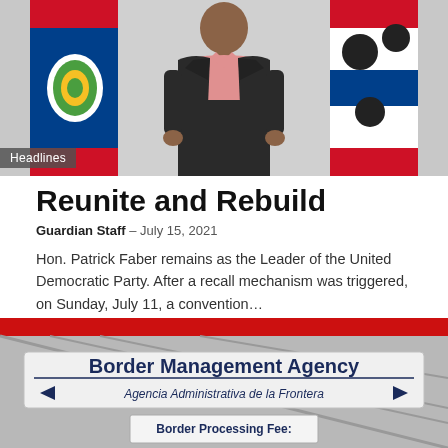[Figure (photo): Man in dark suit and pink shirt standing in front of Belize and another flag (red, white with black dots)]
Headlines
Reunite and Rebuild
Guardian Staff – July 15, 2021
Hon. Patrick Faber remains as the Leader of the United Democratic Party. After a recall mechanism was triggered, on Sunday, July 11, a convention...
[Figure (photo): Sign reading 'Border Management Agency' with Spanish subtitle 'Agencia Administrativa de la Frontera' and arrows, and a smaller sign 'Border Processing Fee:' below, in front of a red stripe background]